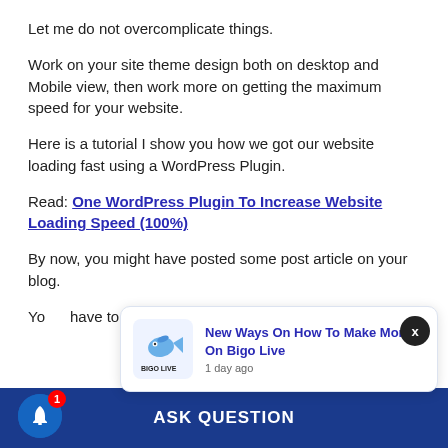Let me do not overcomplicate things.
Work on your site theme design both on desktop and Mobile view, then work more on getting the maximum speed for your website.
Here is a tutorial I show you how we got our website loading fast using a WordPress Plugin.
Read: One WordPress Plugin To Increase Website Loading Speed (100%)
By now, you might have posted some post article on your blog.
You have to a...
[Figure (screenshot): Popup notification card showing Bigo Live logo and text 'New Ways On How To Make Money On Bigo Live' with timestamp '1 day ago']
ASK QUESTION